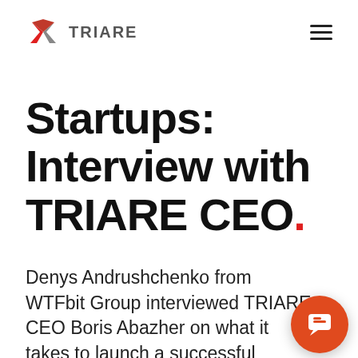TRIARE
Startups: Interview with TRIARE CEO.
Denys Andrushchenko from WTFbit Group interviewed TRIARE CEO Boris Abazher on what it takes to launch a successful startup from the point of view of the software company, and why inexperienced founders